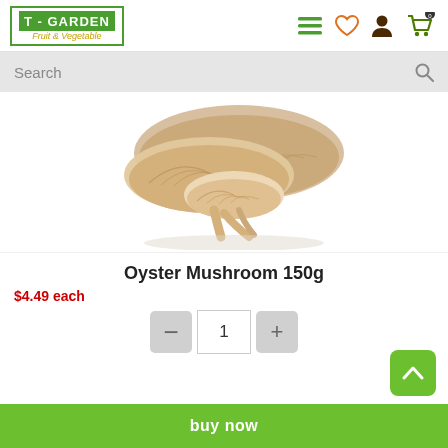[Figure (logo): T-GARDEN Fruit & Vegetable logo with green border and yellow italic subtitle]
[Figure (screenshot): Navigation header icons: hamburger menu (green), heart/wishlist (orange outline), user profile (dark brown), shopping cart with 0 badge (green)]
Search
[Figure (photo): Close-up photo of oyster mushrooms (pale beige/tan fan-shaped mushrooms) on white background]
Oyster Mushroom 150g
$4.49 each
1
buy now